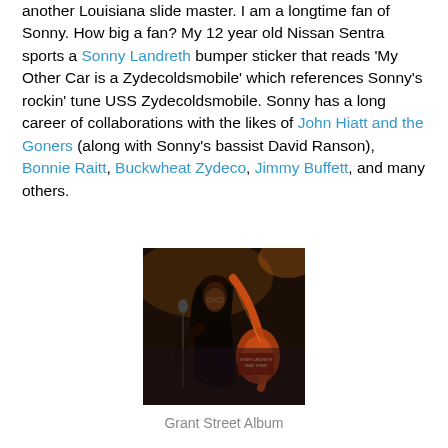another Louisiana slide master. I am a longtime fan of Sonny. How big a fan? My 12 year old Nissan Sentra sports a Sonny Landreth bumper sticker that reads 'My Other Car is a Zydecoldsmobile' which references Sonny's rockin' tune USS Zydecoldsmobile. Sonny has a long career of collaborations with the likes of John Hiatt and the Goners (along with Sonny's bassist David Ranson), Bonnie Raitt, Buckwheat Zydeco, Jimmy Buffett, and many others.
[Figure (photo): Photo of a musician playing guitar on stage with dramatic lighting, orange/warm tones. Album artwork visible. Identified as Grant Street Album.]
Grant Street Album